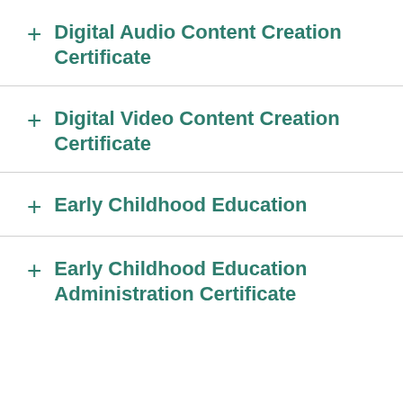Digital Audio Content Creation Certificate
Digital Video Content Creation Certificate
Early Childhood Education
Early Childhood Education Administration Certificate